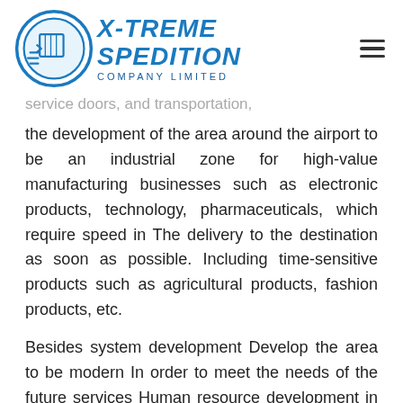[Figure (logo): X-Treme Spedition Company Limited logo with circular emblem and blue text]
service doors, and transportation,
the development of the area around the airport to be an industrial zone for high-value manufacturing businesses such as electronic products, technology, pharmaceuticals, which require speed in The delivery to the destination as soon as possible. Including time-sensitive products such as agricultural products, fashion products, etc.
Besides system development Develop the area to be modern In order to meet the needs of the future services Human resource development in the aviation group Pilot and Cabin Crew is also a top priority, as it is considered a contributing factor to the rapid development and growth of the aviation industry. Training should be provided to develop skills related to aviation and transportation. To